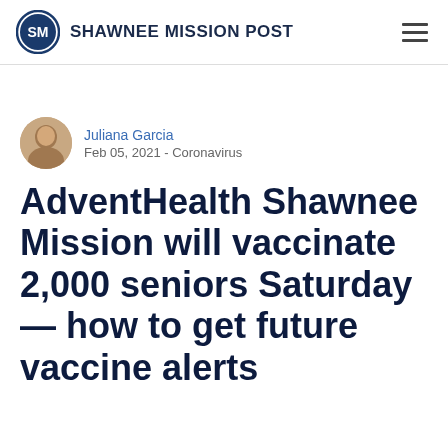SHAWNEE MISSION POST
Juliana Garcia
Feb 05, 2021 - Coronavirus
AdventHealth Shawnee Mission will vaccinate 2,000 seniors Saturday — how to get future vaccine alerts